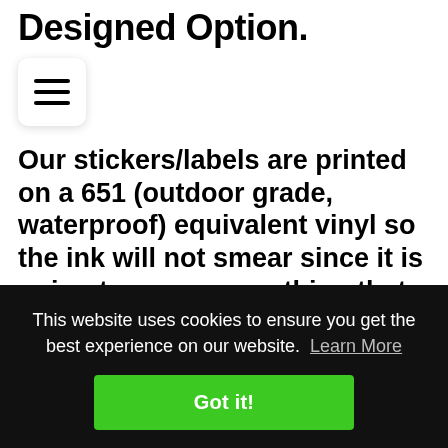Designed Option.
[Figure (other): Hamburger menu button icon with three horizontal lines]
Our stickers/labels are printed on a 651 (outdoor grade, waterproof) equivalent vinyl so the ink will not smear since it is going to go on something that may get wet! By
This website uses cookies to ensure you get the best experience on our website. Learn More
Got it!